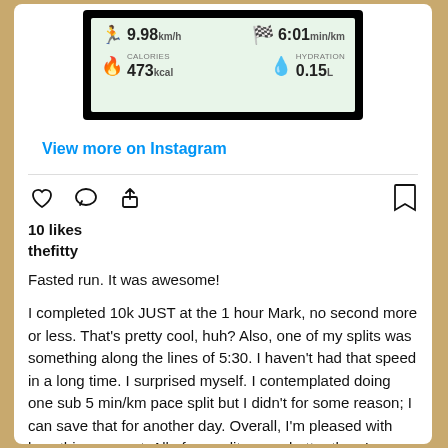[Figure (screenshot): Fitness app screenshot showing speed 9.98 km/h, pace 6:01 min/km, calories 473 kcal, hydration 0.15L on a green card with zigzag border]
View more on Instagram
[Figure (infographic): Instagram action icons: heart (like), comment bubble, share/upload arrow, and bookmark]
10 likes
thefitty
Fasted run. It was awesome!
I completed 10k JUST at the 1 hour Mark, no second more or less. That's pretty cool, huh? Also, one of my splits was something along the lines of 5:30. I haven't had that speed in a long time. I surprised myself. I contemplated doing one sub 5 min/km pace split but I didn't for some reason; I can save that for another day. Overall, I'm pleased with how this run went. All of my splits were better than I would've expected. I can't tell if it was the beautiful weather that stimulated me or just the fact that this past week I haven't been running at all due to rehearsals or if it was the 11 hour